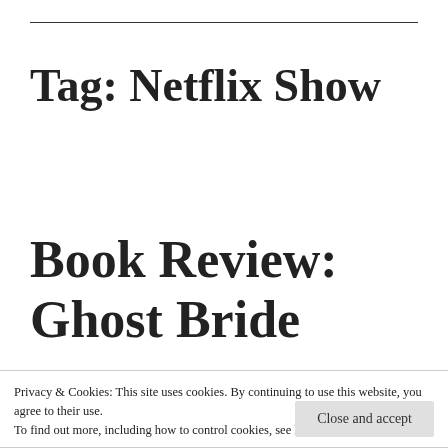Tag: Netflix Show
Book Review: Ghost Bride
Privacy & Cookies: This site uses cookies. By continuing to use this website, you agree to their use.
To find out more, including how to control cookies, see here: Cookie Policy
Close and accept